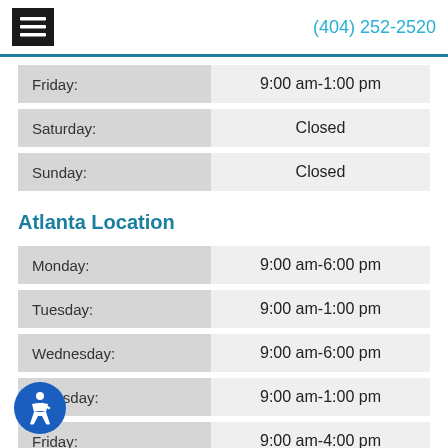(404) 252-2520
| Day | Hours |
| --- | --- |
| Friday: | 9:00 am-1:00 pm |
| Saturday: | Closed |
| Sunday: | Closed |
Atlanta Location
| Day | Hours |
| --- | --- |
| Monday: | 9:00 am-6:00 pm |
| Tuesday: | 9:00 am-1:00 pm |
| Wednesday: | 9:00 am-6:00 pm |
| Thursday: | 9:00 am-1:00 pm |
| Friday: | 9:00 am-4:00 pm |